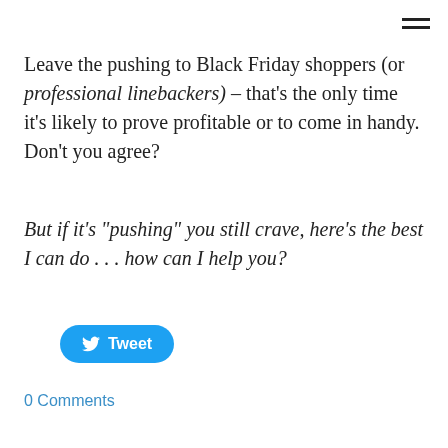Leave the pushing to Black Friday shoppers (or professional linebackers) – that's the only time it's likely to prove profitable or to come in handy. Don't you agree?
But if it's "pushing" you still crave, here's the best I can do . . . how can I help you?
Tweet
0 Comments